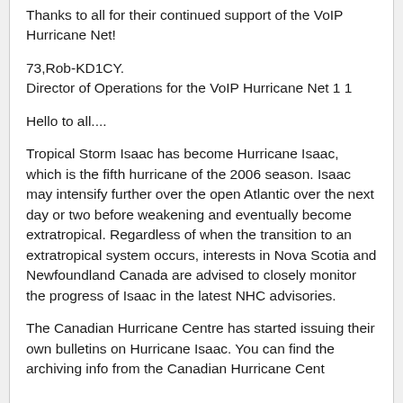Thanks to all for their continued support of the VoIP Hurricane Net!
73,Rob-KD1CY.
Director of Operations for the VoIP Hurricane Net 1 1
Hello to all....
Tropical Storm Isaac has become Hurricane Isaac, which is the fifth hurricane of the 2006 season. Isaac may intensify further over the open Atlantic over the next day or two before weakening and eventually become extratropical. Regardless of when the transition to an extratropical system occurs, interests in Nova Scotia and Newfoundland Canada are advised to closely monitor the progress of Isaac in the latest NHC advisories.
The Canadian Hurricane Centre has started issuing their own bulletins on Hurricane Isaac. You can find the archiving info from the Canadian Hurricane Cent...